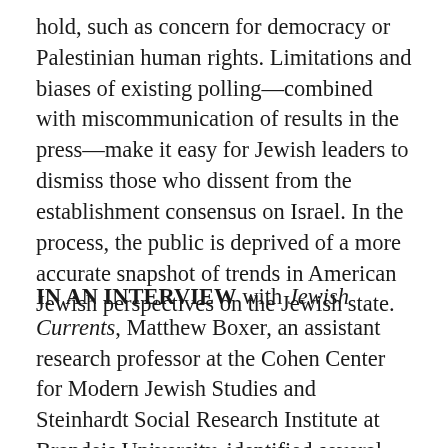hold, such as concern for democracy or Palestinian human rights. Limitations and biases of existing polling—combined with miscommunication of results in the press—make it easy for Jewish leaders to dismiss those who dissent from the establishment consensus on Israel. In the process, the public is deprived of a more accurate snapshot of trends in American Jewish perspectives on the Jewish state.
IN AN INTERVIEW with Jewish Currents, Matthew Boxer, an assistant research professor at the Cohen Center for Modern Jewish Studies and Steinhardt Social Research Institute at Brandeis University, identified several problems with Newport's 95%